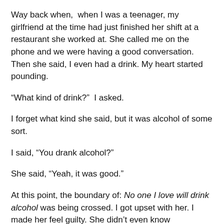Way back when,  when I was a teenager, my girlfriend at the time had just finished her shift at a restaurant she worked at. She called me on the phone and we were having a good conversation. Then she said, I even had a drink. My heart started pounding.
“What kind of drink?”  I asked.
I forget what kind she said, but it was alcohol of some sort.
I said, “You drank alcohol?”
She said, “Yeah, it was good.”
At this point, the boundary of: No one I love will drink alcohol was being crossed. I got upset with her. I made her feel guilty. She didn’t even know